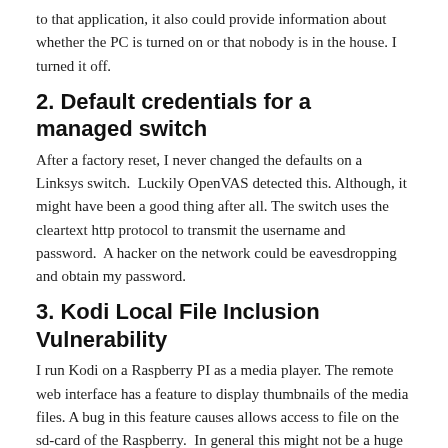to that application, it also could provide information about whether the PC is turned on or that nobody is in the house. I turned it off.
2. Default credentials for a managed switch
After a factory reset, I never changed the defaults on a Linksys switch.  Luckily OpenVAS detected this. Although, it might have been a good thing after all. The switch uses the cleartext http protocol to transmit the username and password.  A hacker on the network could be eavesdropping and obtain my password.
3. Kodi Local File Inclusion Vulnerability
I run Kodi on a Raspberry PI as a media player. The remote web interface has a feature to display thumbnails of the media files. A bug in this feature causes allows access to file on the sd-card of the Raspberry.  In general this might not be a huge problem at home, but it is a vulnerability nonetheless.
4. Hardware firmware out of date
The firmware of a router is outdated, and newer versions are available. This would allow remote attackers to perform several interesting attacks: one click on one email would give a hacker